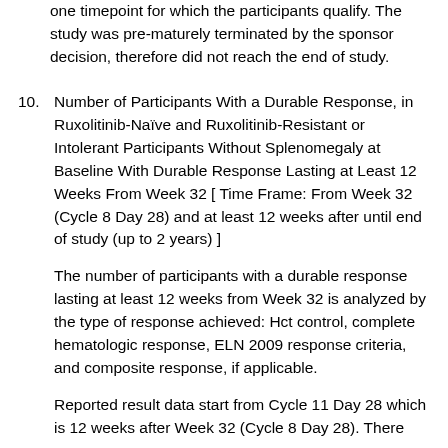one timepoint for which the participants qualify. The study was pre-maturely terminated by the sponsor decision, therefore did not reach the end of study.
10. Number of Participants With a Durable Response, in Ruxolitinib-Naïve and Ruxolitinib-Resistant or Intolerant Participants Without Splenomegaly at Baseline With Durable Response Lasting at Least 12 Weeks From Week 32 [ Time Frame: From Week 32 (Cycle 8 Day 28) and at least 12 weeks after until end of study (up to 2 years) ]
The number of participants with a durable response lasting at least 12 weeks from Week 32 is analyzed by the type of response achieved: Hct control, complete hematologic response, ELN 2009 response criteria, and composite response, if applicable.
Reported result data start from Cycle 11 Day 28 which is 12 weeks after Week 32 (Cycle 8 Day 28). There was